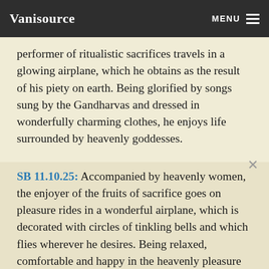Vanisource    MENU
performer of ritualistic sacrifices travels in a glowing airplane, which he obtains as the result of his piety on earth. Being glorified by songs sung by the Gandharvas and dressed in wonderfully charming clothes, he enjoys life surrounded by heavenly goddesses.
SB 11.10.25: Accompanied by heavenly women, the enjoyer of the fruits of sacrifice goes on pleasure rides in a wonderful airplane, which is decorated with circles of tinkling bells and which flies wherever he desires. Being relaxed, comfortable and happy in the heavenly pleasure gardens, he does not consider that he is exhausting the fruits of his piety and will soon fall